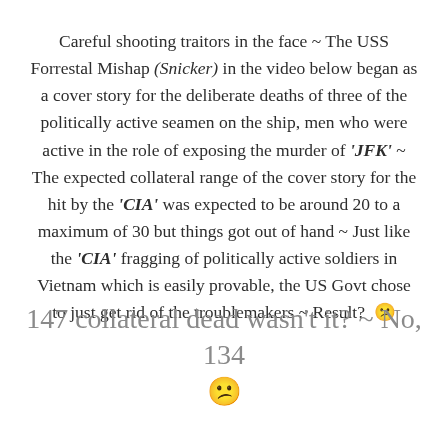Careful shooting traitors in the face ~ The USS Forrestal Mishap (Snicker) in the video below began as a cover story for the deliberate deaths of three of the politically active seamen on the ship, men who were active in the role of exposing the murder of 'JFK' ~ The expected collateral range of the cover story for the hit by the 'CIA' was expected to be around 20 to a maximum of 30 but things got out of hand ~ Just like the 'CIA' fragging of politically active soldiers in Vietnam which is easily provable, the US Govt chose to just get rid of the troublemakers ~ Result?  😕
147 collateral dead wasn't it? ~ No, 134 😕